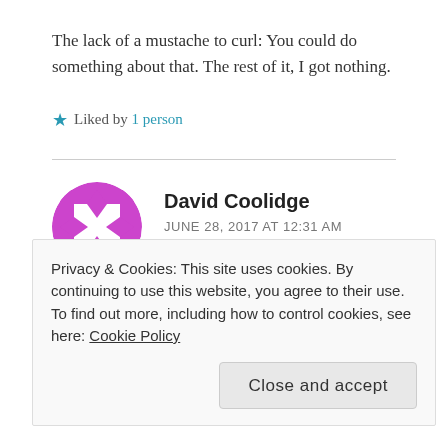The lack of a mustache to curl: You could do something about that. The rest of it, I got nothing.
★ Liked by 1 person
David Coolidge
JUNE 28, 2017 AT 12:31 AM
Jon – I'm another one of those damn straight white guys.
Privacy & Cookies: This site uses cookies. By continuing to use this website, you agree to their use.
To find out more, including how to control cookies, see here: Cookie Policy
Close and accept